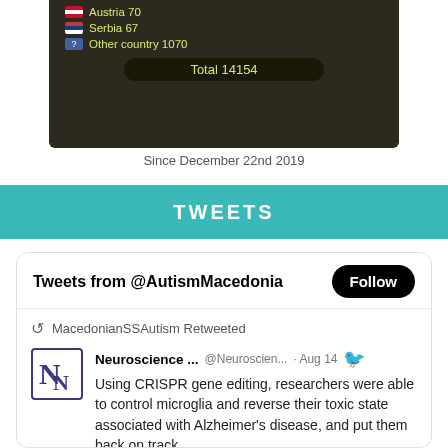[Figure (screenshot): Screenshot of a stats widget showing Serbia 67, Other country 1070, Total 14154 with Austria partially visible at top]
Since December 22nd 2019
TWEETS
Tweets from @AutismMacedonia
MacedonianSSAutism Retweeted
Neuroscience ... @Neuroscien... · Aug 14
Using CRISPR gene editing, researchers were able to control microglia and reverse their toxic state associated with Alzheimer's disease, and put them back on track.
#neuroscience #science
neurosciencenews.com/microglia-alzh…